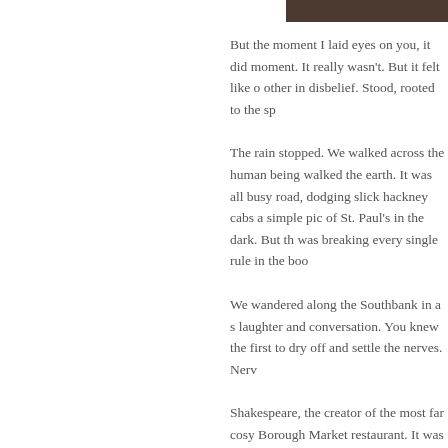[Figure (photo): Partial photo visible at top right of page, appears dark/shadowed]
But the moment I laid eyes on you, it did moment. It really wasn't. But it felt like o other in disbelief. Stood, rooted to the sp
The rain stopped. We walked across the human being walked the earth. It was all busy road, dodging slick hackney cabs a simple pic of St. Paul's in the dark. But th was breaking every single rule in the boo
We wandered along the Southbank in a s laughter and conversation. You knew the first to dry off and settle the nerves. Nerv
Shakespeare, the creator of the most far cosy Borough Market restaurant. It was p You paid the bill and came back with two apartment.
I remember feeling cold at dinner, my jac